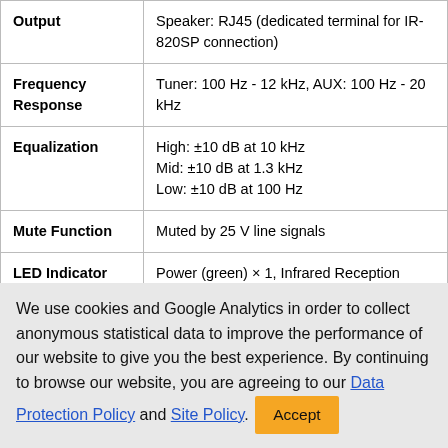| Feature | Specification |
| --- | --- |
| Output | Speaker: RJ45 (dedicated terminal for IR-820SP connection) |
| Frequency Response | Tuner: 100 Hz - 12 kHz, AUX: 100 Hz - 20 kHz |
| Equalization | High: ±10 dB at 10 kHz
Mid: ±10 dB at 1.3 kHz
Low: ±10 dB at 100 Hz |
| Mute Function | Muted by 25 V line signals |
| LED Indicator | Power (green) × 1, Infrared Reception (yellow) × 2, Mute (red) × 1 |
| Operating | -10 °C to +50 °C (14 °F to 122 °F) |
We use cookies and Google Analytics in order to collect anonymous statistical data to improve the performance of our website to give you the best experience. By continuing to browse our website, you are agreeing to our Data Protection Policy and Site Policy.